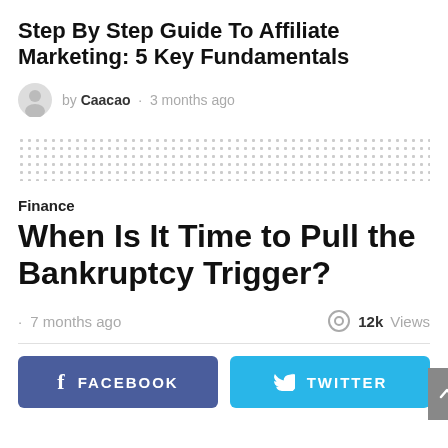Step By Step Guide To Affiliate Marketing: 5 Key Fundamentals
by Caacao · 3 months ago
[Figure (other): Dotted decorative divider pattern]
Finance
When Is It Time to Pull the Bankruptcy Trigger?
· 7 months ago    12k Views
FACEBOOK   TWITTER